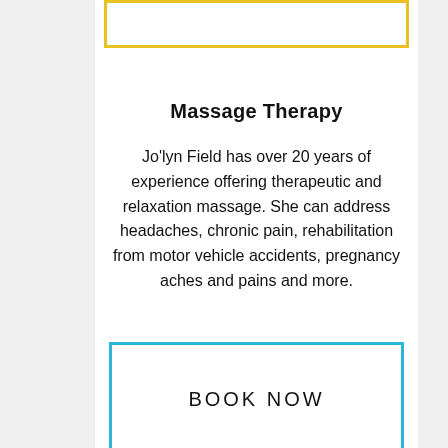[Figure (other): Yellow outlined rectangle at top of content area]
Massage Therapy
Jo'lyn Field has over 20 years of experience offering therapeutic and relaxation massage. She can address headaches, chronic pain, rehabilitation from motor vehicle accidents, pregnancy aches and pains and more.
[Figure (other): Blue outlined rectangle containing 'BOOK NOW' text button]